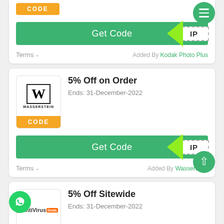[Figure (screenshot): Get Code button with green background and arrow/IP reveal element]
Terms ▾   Added By Kodak Photo Plus
5% Off on Order
Ends: 31-December-2022
[Figure (logo): Wasserstein logo with W letter in box]
CODE
[Figure (screenshot): Get Code button with IP reveal]
Terms ▾   Added By Wasserstein
5% Off Sitewide
Ends: 31-December-2022
[Figure (logo): AntiVirus Deals logo]